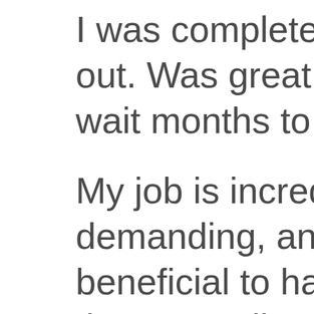I was completely emot out. Was great that I d wait months to start we
My job is incredibly em demanding, and it has beneficial to have spac that, as well as things